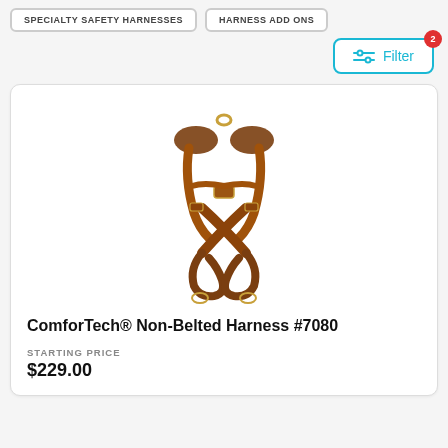SPECIALTY SAFETY HARNESSES   HARNESS ADD ONS
Filter
[Figure (photo): Brown leather ComforTech Non-Belted safety harness displayed against white background]
ComforTech® Non-Belted Harness #7080
STARTING PRICE
$229.00